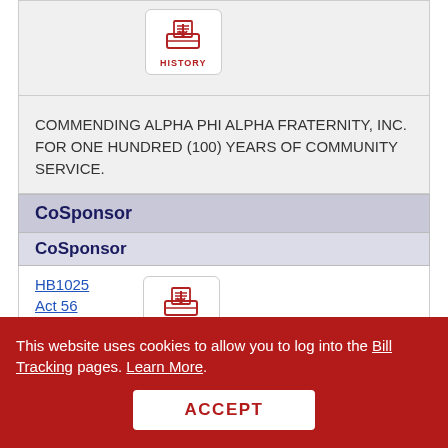[Figure (screenshot): History button icon with red inbox tray icon and HISTORY label]
COMMENDING ALPHA PHI ALPHA FRATERNITY, INC. FOR ONE HUNDRED (100) YEARS OF COMMUNITY SERVICE.
CoSponsor
CoSponsor
HB1025
Act 56
[Figure (screenshot): History button icon with red inbox tray icon and HISTORY label]
AN ACT TO PROHIBIT AN AWARD OF CHILD CUSTODY OR VISITATION TO A SEX OFFENDER
This website uses cookies to allow you to log into the Bill Tracking pages. Learn More.
ACCEPT